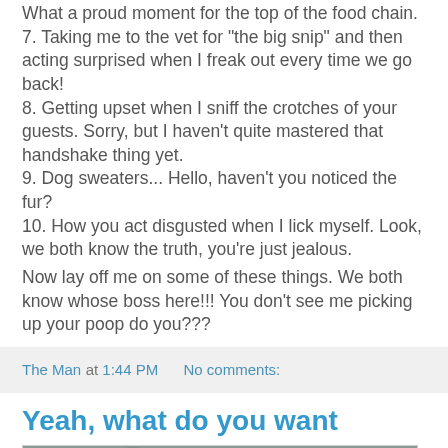What a proud moment for the top of the food chain.
7. Taking me to the vet for "the big snip" and then acting surprised when I freak out every time we go back!
8. Getting upset when I sniff the crotches of your guests. Sorry, but I haven't quite mastered that handshake thing yet.
9. Dog sweaters... Hello, haven't you noticed the fur?
10. How you act disgusted when I lick myself. Look, we both know the truth, you're just jealous.
Now lay off me on some of these things. We both know whose boss here!!! You don't see me picking up your poop do you???
The Man at 1:44 PM   No comments:
Yeah, what do you want
[Figure (photo): A photo showing what appears to be an animal (likely a dog or sheep) in an outdoor farm-like setting with a stone wall and wire fence in the background.]